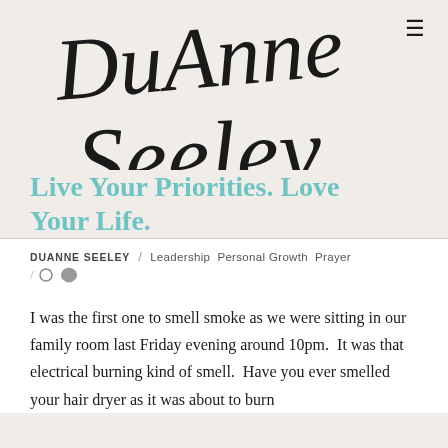DuAnne Seeley
Live Your Priorities. Love Your Life.
DUANNE SEELEY / Leadership  Personal Growth  Prayer
I was the first one to smell smoke as we were sitting in our family room last Friday evening around 10pm.  It was that electrical burning kind of smell.  Have you ever smelled your hair dryer as it was about to burn